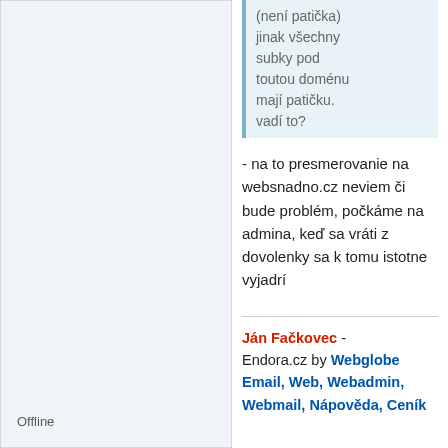(není patička) jinak všechny subky pod toutou doménu mají patičku. vadí to?
- na to presmerovanie na websnadno.cz neviem či bude problém, počkáme na admina, keď sa vráti z dovolenky sa k tomu istotne vyjadrí
Ján Fačkovec - Endora.cz by Webglobe Email, Web, Webadmin, Webmail, Nápověda, Ceník
Offline